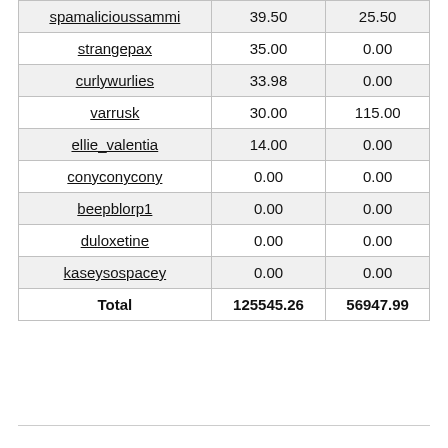| spamalicioussammi | 39.50 | 25.50 |
| strangepax | 35.00 | 0.00 |
| curlywurlies | 33.98 | 0.00 |
| varrusk | 30.00 | 115.00 |
| ellie_valentia | 14.00 | 0.00 |
| conyconycony | 0.00 | 0.00 |
| beepblorp1 | 0.00 | 0.00 |
| duloxetine | 0.00 | 0.00 |
| kaseysospacey | 0.00 | 0.00 |
| Total | 125545.26 | 56947.99 |